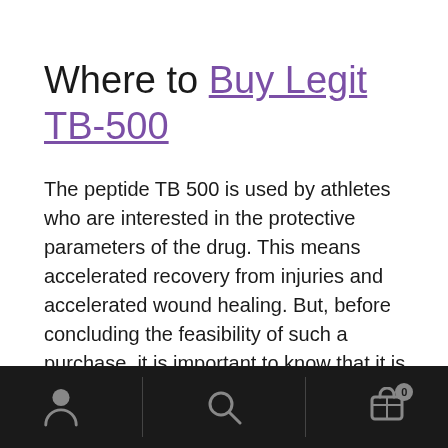Where to Buy Legit TB-500
The peptide TB 500 is used by athletes who are interested in the protective parameters of the drug. This means accelerated recovery from injuries and accelerated wound healing. But, before concluding the feasibility of such a purchase, it is important to know that it is classed as a research product. It is not for human consumption. This peptide is for continued study to find cures for age-related conditions. To buy tb500 for research use click on this link here. You will discover we supply a huge choice of Peptide
Navigation bar with person, search, and cart icons